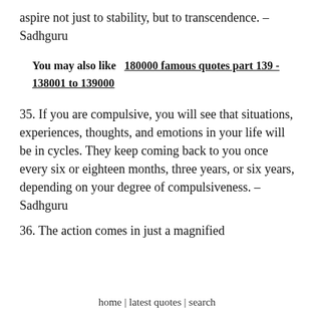aspire not just to stability, but to transcendence. – Sadhguru
You may also like   180000 famous quotes part 139 - 138001 to 139000
35. If you are compulsive, you will see that situations, experiences, thoughts, and emotions in your life will be in cycles. They keep coming back to you once every six or eighteen months, three years, or six years, depending on your degree of compulsiveness. – Sadhguru
36. The action comes in just a magnified...
home | latest quotes | search